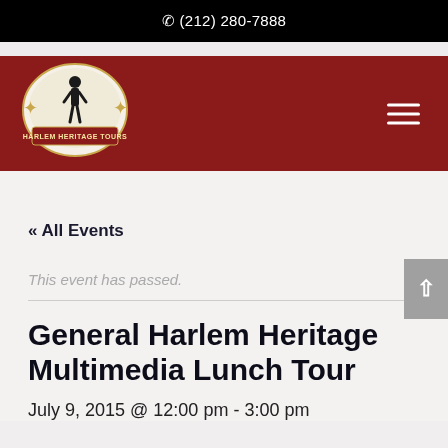(212) 280-7888
[Figure (logo): Harlem Heritage Tours logo: oval frame with silhouette figure and decorative text on dark red background]
« All Events
This event has passed.
General Harlem Heritage Multimedia Lunch Tour
July 9, 2015 @ 12:00 pm - 3:00 pm